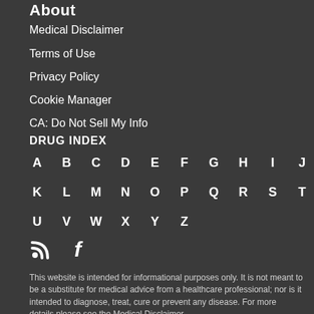About
Medical Disclaimer
Terms of Use
Privacy Policy
Cookie Manager
CA: Do Not Sell My Info
DRUG INDEX
A B C D E F G H I J
K L M N O P Q R S T
U V W X Y Z
[Figure (other): RSS feed icon and Facebook icon]
This website is intended for informational purposes only. It is not meant to be a substitute for medical advice from a healthcare professional; nor is it intended to diagnose, treat, cure or prevent any disease. For more details please see the Medical Disclaimer.